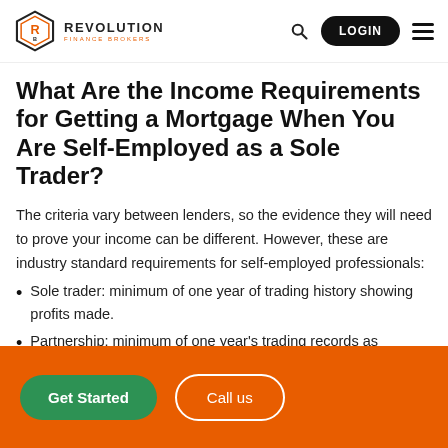REVOLUTION FINANCE BROKERS
What Are the Income Requirements for Getting a Mortgage When You Are Self-Employed as a Sole Trader?
The criteria vary between lenders, so the evidence they will need to prove your income can be different. However, these are industry standard requirements for self-employed professionals:
Sole trader: minimum of one year of trading history showing profits made.
Partnership: minimum of one year's trading records as